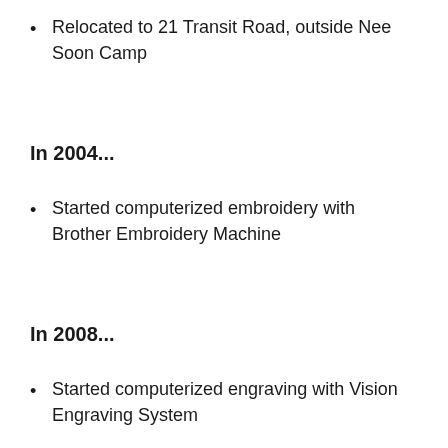Relocated to 21 Transit Road, outside Nee Soon Camp
In 2004...
Started computerized embroidery with Brother Embroidery Machine
In 2008...
Started computerized engraving with Vision Engraving System
In 2009...